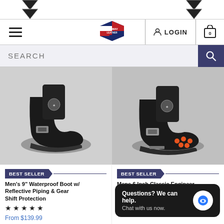[Figure (screenshot): Top section of Highway Leather e-commerce website showing navigation bar with hamburger menu, Highway Leather logo badge, LOGIN button, and cart icon with 0 items. Below is a search bar with dark blue search button.]
[Figure (photo): Left product photo: Men's black leather motorcycle boots with buckle strap and thick lug sole, shown from side angle.]
[Figure (photo): Right product photo: Men's black leather motorcycle boots with buckle strap, shown from back/sole angle with orange Vibram dots on sole.]
BEST SELLER
Men's 9" Waterproof Boot w/ Reflective Piping & Gear Shift Protection
★ ★ ★ ★ ★
From $139.99
BEST SELLER
Mens 6 Inch Classic Engineer Boot
★
From $119.99
Questions? We can help. Chat with us now.